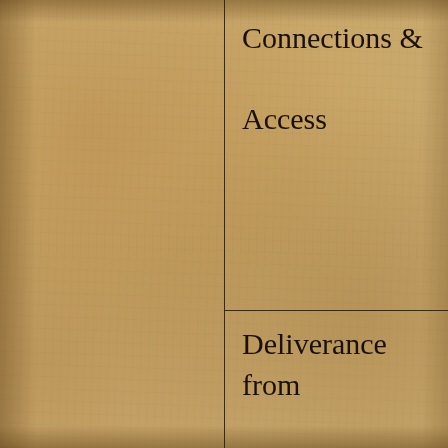Connections & Access
Deliverance from evil